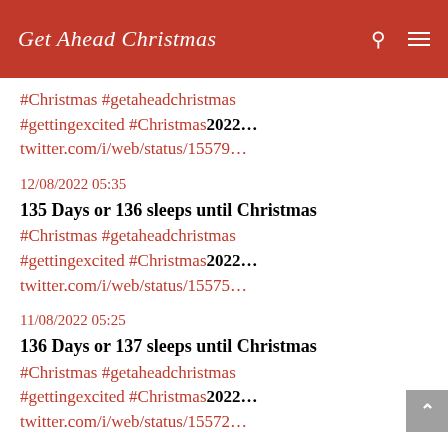Get Ahead Christmas
#Christmas #getaheadchristmas #gettingexcited #Christmas2022… twitter.com/i/web/status/15579…
12/08/2022 05:35
135 Days or 136 sleeps until Christmas
#Christmas #getaheadchristmas #gettingexcited #Christmas2022… twitter.com/i/web/status/15575…
11/08/2022 05:25
136 Days or 137 sleeps until Christmas
#Christmas #getaheadchristmas #gettingexcited #Christmas2022… twitter.com/i/web/status/15572…